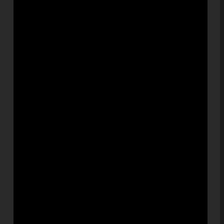[Figure (other): Black image panel on the left side of the page, partially visible]
Paul Bettany ...Jarvis (voice)
Sam Rockwell ...Justin Hammer
Don Cheadle ...Col. James 'Rhodey' Rhodes /
John Slattery ...Howard Stark
Stan Lee ...Larry King
Helena Mattsson ...Rebecca
Clark Gregg ...Agent Phil Coulson
Tim Guinee ...Major Allen
Gina Cantrell ...Ironette
Ayelet Ben Shahar ...Beautiful Women / Model
Natalina Maggio ...Model
Garry Shandling ...Senator Stern
Jack White ...Jack!
Anya Monzikova ...Rebekah
Davin Ransom ...Young Tony Stark
Grace Stanley ...Model
Jennifer D. Johnson ...Ironette Dancer
Victoria Parsons ...Ironette
Keith Middlebrook ...Dr. Jason Miller
Alejandro Patino ...Strawberry Vendor
Ted Alderman ...News Reporter
» [more cast members]
Producer(s):
Victoria Alonso
Louis D'Esposito
Susan Downey
Jon Favreau
Kevin Feige
Alan Fine
Eric Heffron